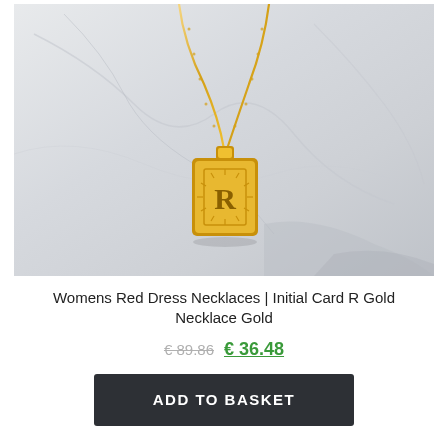[Figure (photo): A gold initial card R necklace pendant on a gold chain, resting on a white marble stone background.]
Womens Red Dress Necklaces | Initial Card R Gold Necklace Gold
€ 89.86  € 36.48
ADD TO BASKET